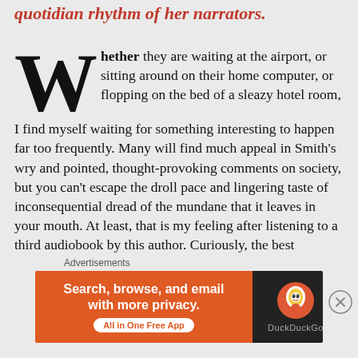quotidian rhythm of her narrators.
Whether they are waiting at the airport, or sitting around on their home computer, or flopping on the bed of a sleazy hotel room, I find myself waiting for something interesting to happen far too frequently. Many will find much appeal in Smith's wry and pointed, thought-provoking comments on society, but you can't escape the droll pace and lingering taste of inconsequential dread of the mundane that it leaves in your mouth. At least, that is my feeling after listening to a third audiobook by this author. Curiously, the best audiobook reader I've heard was Ali Smith herself.
The best parts of this book was the brooding on the
[Figure (infographic): DuckDuckGo advertisement banner: orange left section with text 'Search, browse, and email with more privacy.' and 'All in One Free App' button; dark right section with DuckDuckGo logo and name.]